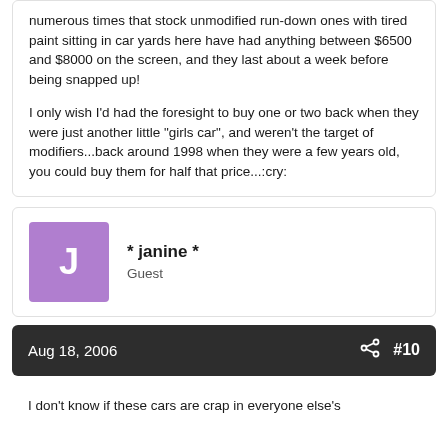numerous times that stock unmodified run-down ones with tired paint sitting in car yards here have had anything between $6500 and $8000 on the screen, and they last about a week before being snapped up!

I only wish I'd had the foresight to buy one or two back when they were just another little "girls car", and weren't the target of modifiers...back around 1998 when they were a few years old, you could buy them for half that price...:cry:
* janine *
Guest
Aug 18, 2006  #10
I don't know if these cars are crap in everyone else's